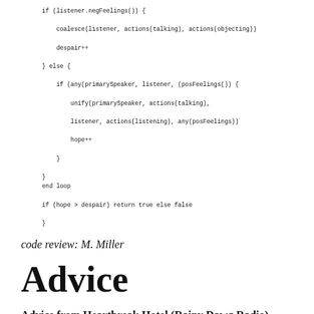if (listener.negFeelings()) {
    coalesce(listener, actions(talking), actions(objecting))
    despair++
} else {
    if (any(primarySpeaker, listener, (posFeelings()) {
        unify(primarySpeaker, actions(talking),
        listener, actions(listening), any(posFeelings))
        hope++
    }
}
end loop
if (hope > despair) return true else false
}
code review: M. Miller
Advice
Advice from Heartbreak Hotel (Rainy Dawg Radio)
D.J. Steve